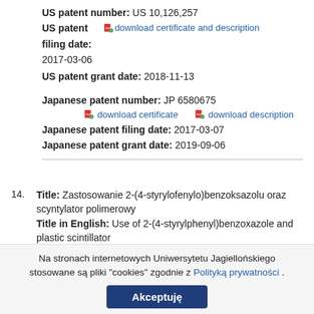US patent number: US 10,126,257
US patent filing date: 2017-03-06 [download certificate and description]
US patent grant date: 2018-11-13
Japanese patent number: JP 6580675
[download certificate] [download description]
Japanese patent filing date: 2017-03-07
Japanese patent grant date: 2019-09-06
14. Title: Zastosowanie 2-(4-styrylofenylo)benzoksazolu oraz scyntylator polimerowy Title in English: Use of 2-(4-styrylphenyl)benzoxazole and plastic scintillator
Na stronach internetowych Uniwersytetu Jagiellońskiego stosowane są pliki "cookies" zgodnie z Polityką prywatności .
Akceptuję